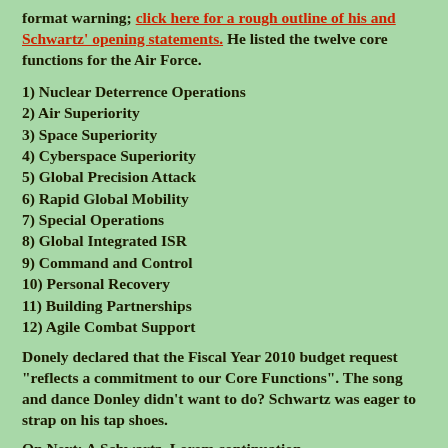format warning; click here for a rough outline of his and Schwartz' opening statements. He listed the twelve core functions for the Air Force.
1) Nuclear Deterrence Operations
2) Air Superiority
3) Space Superiority
4) Cyberspace Superiority
5) Global Precision Attack
6) Rapid Global Mobility
7) Special Operations
8) Global Integrated ISR
9) Command and Control
10) Personal Recovery
11) Building Partnerships
12) Agile Combat Support
Donely declared that the Fiscal Year 2010 budget request "reflects a commitment to our Core Functions". The song and dance Donley didn't want to do? Schwartz was eager to strap on his tap shoes.
On Next: A Schwartz. Lorem continuation...